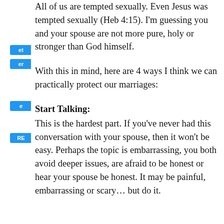All of us are tempted sexually. Even Jesus was tempted sexually (Heb 4:15). I'm guessing you and your spouse are not more pure, holy or stronger than God himself.
With this in mind, here are 4 ways I think we can practically protect our marriages:
Start Talking:
This is the hardest part. If you've never had this conversation with your spouse, then it won't be easy. Perhaps the topic is embarrassing, you both avoid deeper issues, are afraid to be honest or hear your spouse be honest. It may be painful, embarrassing or scary… but do it.